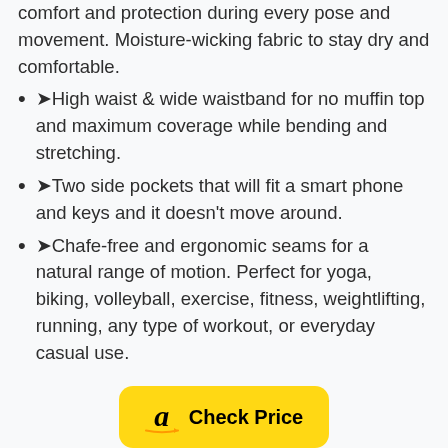comfort and protection during every pose and movement. Moisture-wicking fabric to stay dry and comfortable.
➤High waist & wide waistband for no muffin top and maximum coverage while bending and stretching.
➤Two side pockets that will fit a smart phone and keys and it doesn't move around.
➤Chafe-free and ergonomic seams for a natural range of motion. Perfect for yoga, biking, volleyball, exercise, fitness, weightlifting, running, any type of workout, or everyday casual use.
[Figure (logo): Amazon Check Price button - yellow rounded rectangle with Amazon logo (stylized 'a' with arrow) and bold text 'Check Price']